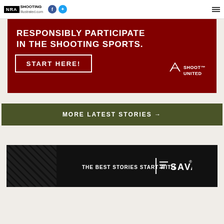NRA Shooting Illustrated
[Figure (infographic): Shoot United promotional banner on dark red background with text 'RESPONSIBLY PARTICIPATE IN THE SHOOTING SPORTS.' and a 'START HERE!' button with Shoot United logo]
[Figure (infographic): Dark olive green button/banner with text 'MORE LATEST STORIES →']
[Figure (infographic): Savage Arms advertisement banner with dark background, 'THE BEST STORIES START WITH SAVAGE' tagline]